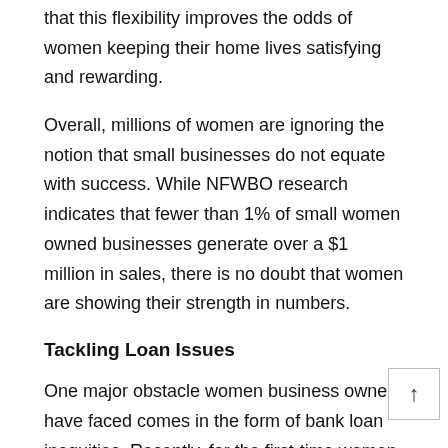that this flexibility improves the odds of women keeping their home lives satisfying and rewarding.
Overall, millions of women are ignoring the notion that small businesses do not equate with success. While NFWBO research indicates that fewer than 1% of small women owned businesses generate over a $1 million in sales, there is no doubt that women are showing their strength in numbers.
Tackling Loan Issues
One major obstacle women business owners have faced comes in the form of bank loan inequities. Recently, for the first-time women